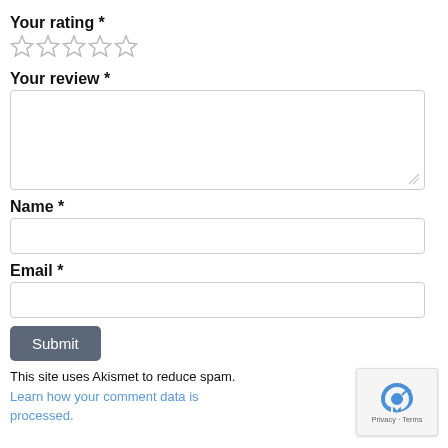Your rating *
[Figure (other): Five empty star icons for rating selection]
Your review *
[Figure (other): Large text area input box for review]
Name *
[Figure (other): Single-line text input box for name]
Email *
[Figure (other): Single-line text input box for email]
[Figure (other): Submit button with gray background]
This site uses Akismet to reduce spam. Learn how your comment data is processed.